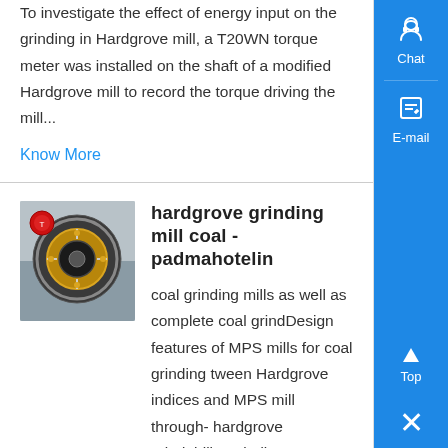To investigate the effect of energy input on the grinding in Hardgrove mill, a T20WN torque meter was installed on the shaft of a modified Hardgrove mill to record the torque driving the mill...
Know More
[Figure (photo): Photo of a Hardgrove grinding mill mechanical component, showing circular/disc elements]
hardgrove grinding mill coal - padmahotelin
coal grinding mills as well as complete coal grindDesign features of MPS mills for coal grinding tween Hardgrove indices and MPS mill through- hardgrove grindability grinding - bbmicoin ball mill for , 1 Dec 2013 ball mill bond work index hardgrove grindability , hardgrove grinding mill coal